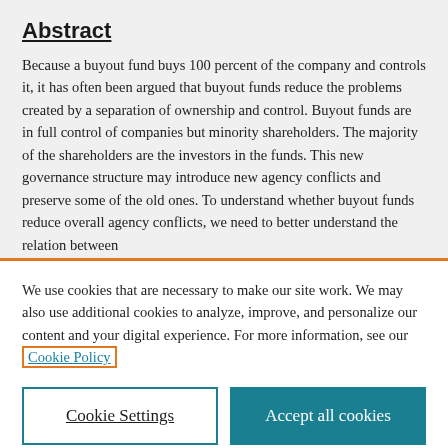Abstract
Because a buyout fund buys 100 percent of the company and controls it, it has often been argued that buyout funds reduce the problems created by a separation of ownership and control. Buyout funds are in full control of companies but minority shareholders. The majority of the shareholders are the investors in the funds. This new governance structure may introduce new agency conflicts and preserve some of the old ones. To understand whether buyout funds reduce overall agency conflicts, we need to better understand the relation between
We use cookies that are necessary to make our site work. We may also use additional cookies to analyze, improve, and personalize our content and your digital experience. For more information, see our Cookie Policy
Cookie Settings
Accept all cookies